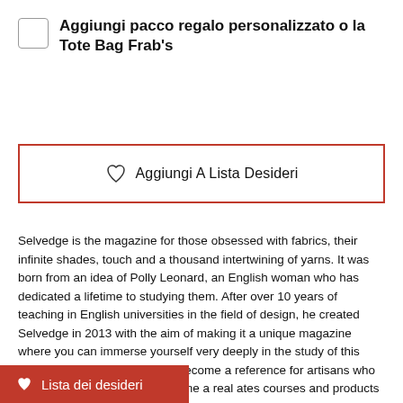Aggiungi pacco regalo personalizzato o la Tote Bag Frab's
[Figure (other): Aggiungi A Lista Desideri button with heart icon, red border]
Selvedge is the magazine for those obsessed with fabrics, their infinite shades, touch and a thousand intertwining of yarns. It was born from an idea of Polly Leonard, an English woman who has dedicated a lifetime to studying them. After over 10 years of teaching in English universities in the field of design, he created Selvedge in 2013 with the aim of making it a unique magazine where you can immerse yourself very deeply in the study of this specific sector. Selvedge has become a reference for artisans who work and over time it has become a real ates courses and products
[Figure (other): Red bottom bar with heart icon and text Lista dei desideri]